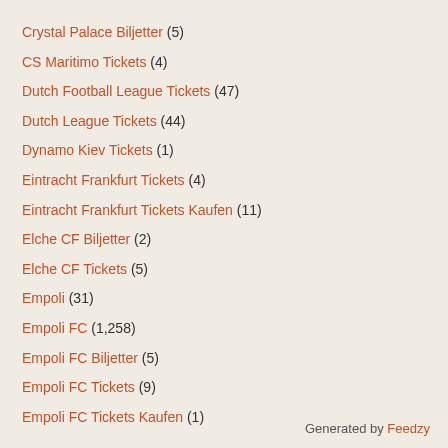Crystal Palace Biljetter (5)
CS Maritimo Tickets (4)
Dutch Football League Tickets (47)
Dutch League Tickets (44)
Dynamo Kiev Tickets (1)
Eintracht Frankfurt Tickets (4)
Eintracht Frankfurt Tickets Kaufen (11)
Elche CF Biljetter (2)
Elche CF Tickets (5)
Empoli (31)
Empoli FC (1,258)
Empoli FC Biljetter (5)
Empoli FC Tickets (9)
Empoli FC Tickets Kaufen (1)
Generated by Feedzy